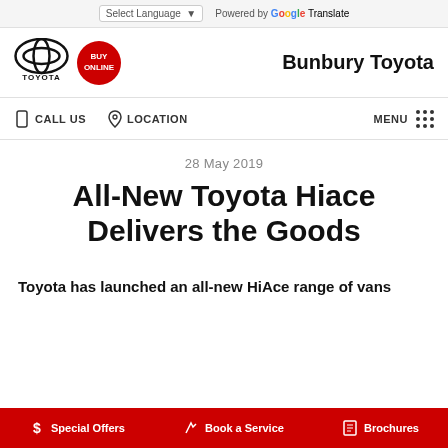Select Language — Powered by Google Translate
[Figure (logo): Toyota logo and Buy Online badge, with Bunbury Toyota dealer name]
CALL US  LOCATION  MENU
28 May 2019
All-New Toyota Hiace Delivers the Goods
Toyota has launched an all-new HiAce range of vans
Special Offers  Book a Service  Brochures